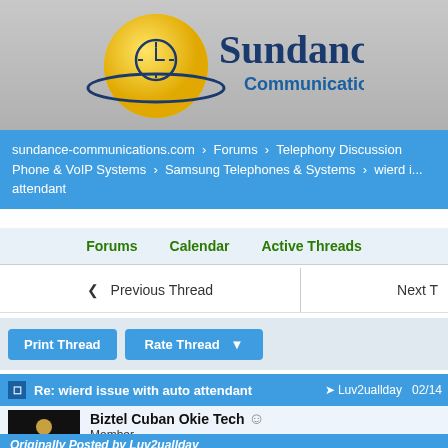[Figure (logo): Sundance Communications logo - yellow globe with blue orbit ring and company name]
sundance-communications.com > Forums > Telephony Discussion Phone & VoIP Systems > Samsung Telephones & Systems > wierd issue with auto attendant
Forums   Calendar   Active Threads
< Previous Thread   Next T
Print Thread   Rate Thread ▼
Re: wierd issue with auto attendant
Luv2uallday 02/14
Biztel Cuban Okie Tech
Member
★★★★★
Originally Posted by Luv2uallday
[custompromsleec] lok at the loca in the vm, they should shed...